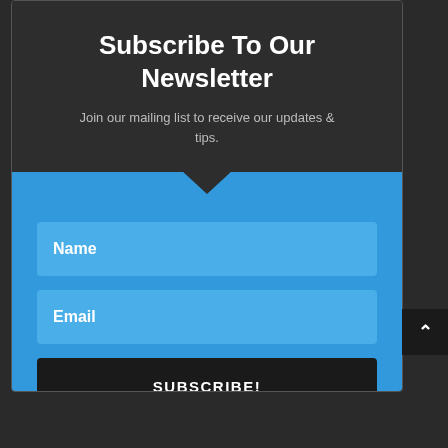Subscribe To Our Newsletter
Join our mailing list to receive our updates & tips.
Name
Email
SUBSCRIBE!